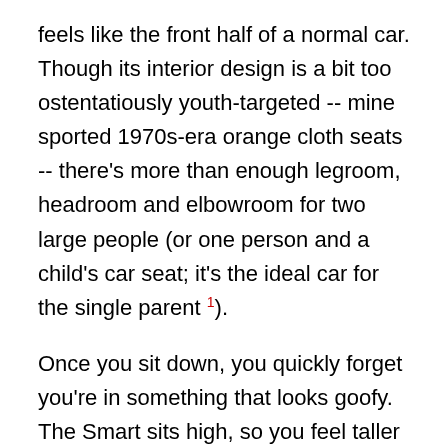feels like the front half of a normal car. Though its interior design is a bit too ostentatiously youth-targeted -- mine sported 1970s-era orange cloth seats -- there's more than enough legroom, headroom and elbowroom for two large people (or one person and a child's car seat; it's the ideal car for the single parent 1).
Once you sit down, you quickly forget you're in something that looks goofy. The Smart sits high, so you feel taller than others on the road, but unless you peek behind you -- where there's space for three or four grocery bags or two carry-on suitcases, but not much more -- you'll feel as if you're riding in any standard, lower-mid-range sedan. There's a lot of hard plastic, but the instrumentation is nicely designed, and